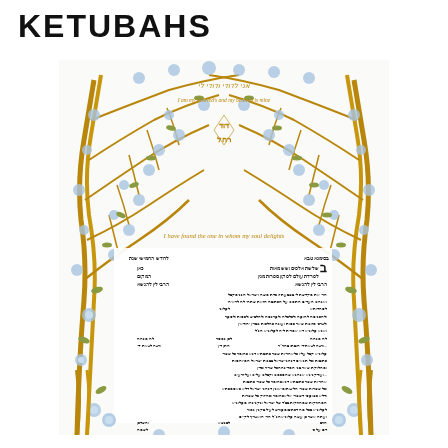KETUBAHS
[Figure (illustration): A decorative Ketubah (Jewish marriage contract) featuring an ornate border of intertwining golden tree branches with blue flowers and green leaves. The upper portion has a floral arch design with Hebrew calligraphy and decorative text. The lower portion contains dense Hebrew text arranged in columns, with a cursive English phrase 'I have found the one in whom my soul delights' in the middle section. The bottom of the image features additional golden Hebrew calligraphic text.]